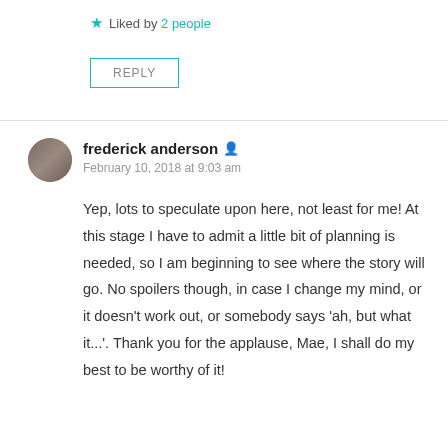★ Liked by 2 people
REPLY
frederick anderson
February 10, 2018 at 9:03 am
Yep, lots to speculate upon here, not least for me! At this stage I have to admit a little bit of planning is needed, so I am beginning to see where the story will go. No spoilers though, in case I change my mind, or it doesn't work out, or somebody says 'ah, but what it...'. Thank you for the applause, Mae, I shall do my best to be worthy of it!